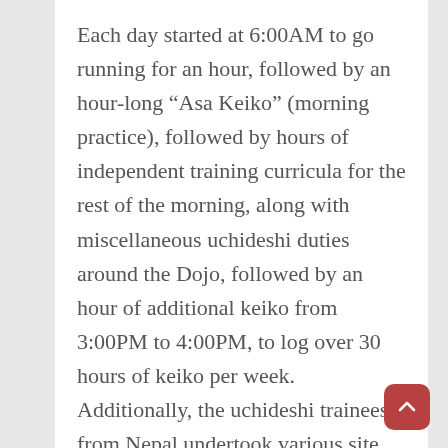Each day started at 6:00AM to go running for an hour, followed by an hour-long “Asa Keiko” (morning practice), followed by hours of independent training curricula for the rest of the morning, along with miscellaneous uchideshi duties around the Dojo, followed by an hour of additional keiko from 3:00PM to 4:00PM, to log over 30 hours of keiko per week. Additionally, the uchideshi trainees from Nepal undertook various site visits as part of their training. Of the 6 Nepalese uchideshi trainees, 3 are from the Nepalese Army Rangers and 3 are female Aikido instructor candidates from Nepalese Army K9 battalions, and they were dispatched to this year’s